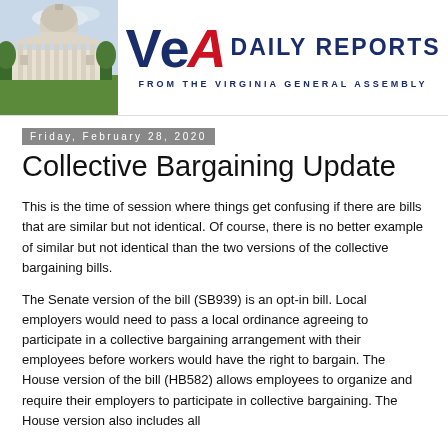[Figure (illustration): VEA Daily Reports header with Virginia state capitol building photo on the left and the VEA Daily Reports logo on the right, with tagline 'FROM THE VIRGINIA GENERAL ASSEMBLY']
Friday, February 28, 2020
Collective Bargaining Update
This is the time of session where things get confusing if there are bills that are similar but not identical. Of course, there is no better example of similar but not identical than the two versions of the collective bargaining bills.
The Senate version of the bill (SB939) is an opt-in bill. Local employers would need to pass a local ordinance agreeing to participate in a collective bargaining arrangement with their employees before workers would have the right to bargain. The House version of the bill (HB582) allows employees to organize and require their employers to participate in collective bargaining. The House version also includes all state employees and establishes Employee Relations